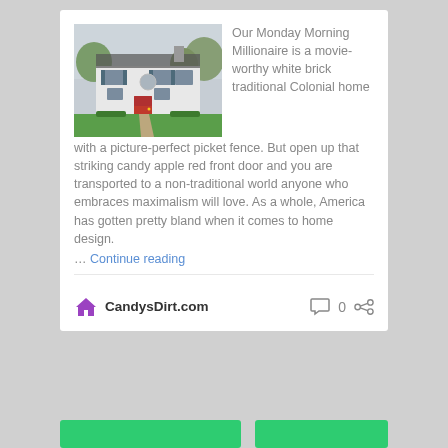[Figure (photo): White brick traditional Colonial home with a red front door and green lawn, viewed from the street.]
Our Monday Morning Millionaire is a movie-worthy white brick traditional Colonial home with a picture-perfect picket fence. But open up that striking candy apple red front door and you are transported to a non-traditional world anyone who embraces maximalism will love. As a whole, America has gotten pretty bland when it comes to home design.
… Continue reading
CandysDirt.com
0